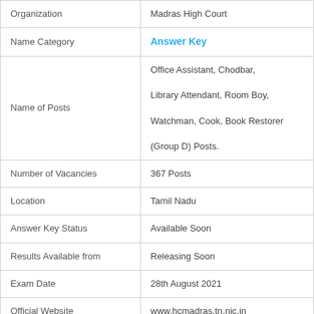| Organization | Madras High Court |
| Name Category | Answer Key |
| Name of Posts | Office Assistant, Chodbar, Library Attendant, Room Boy, Watchman, Cook, Book Restorer (Group D) Posts. |
| Number of Vacancies | 367 Posts |
| Location | Tamil Nadu |
| Answer Key Status | Available Soon |
| Results Available from | Releasing Soon |
| Exam Date | 28th August 2021 |
| Official Website | www.hcmadras.tn.nic.in |